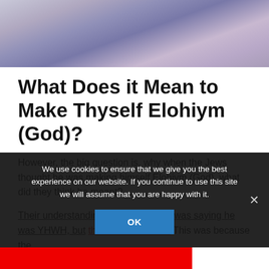[Figure (photo): Partial image at top of page showing colorful draped fabric or clothing with muted blue/purple tones and a rounded object in the background]
What Does it Mean to Make Thyself Elohiym (God)?
However, the big question is, why when the Jews thought he was making himself Elohiym (God), what did they think he meant?
Their understanding was not that he was saying he was YHWH, but the SON of YHWH. This was because the
We use cookies to ensure that we give you the best experience on our website. If you continue to use this site we will assume that you are happy with it.